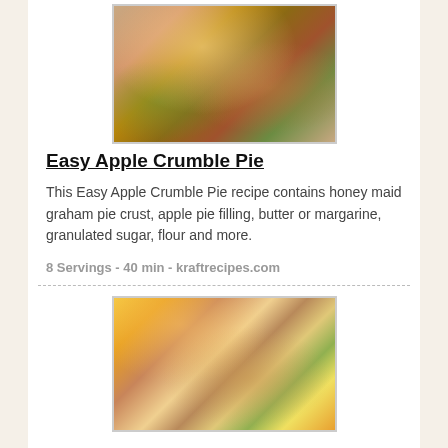[Figure (photo): Photo of a slice of apple crumble pie with crumb topping, garnished with mint and fruit on a green background]
Easy Apple Crumble Pie
This Easy Apple Crumble Pie recipe contains honey maid graham pie crust, apple pie filling, butter or margarine, granulated sugar, flour and more.
8 Servings - 40 min - kraftrecipes.com
[Figure (photo): Photo of a ham and cheese sandwich on whole wheat bread with lettuce, served on a white napkin with orange utensils and fruit in background]